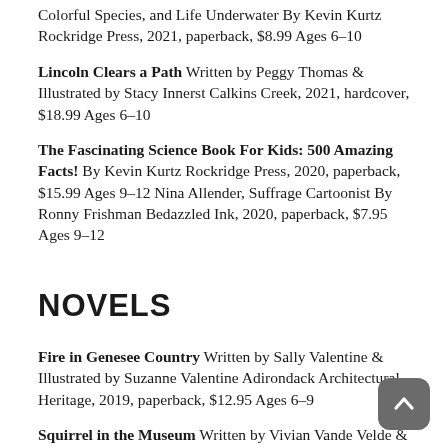Colorful Species, and Life Underwater By Kevin Kurtz Rockridge Press, 2021, paperback, $8.99 Ages 6–10
Lincoln Clears a Path Written by Peggy Thomas & Illustrated by Stacy Innerst Calkins Creek, 2021, hardcover, $18.99 Ages 6–10
The Fascinating Science Book For Kids: 500 Amazing Facts! By Kevin Kurtz Rockridge Press, 2020, paperback, $15.99 Ages 9–12 Nina Allender, Suffrage Cartoonist By Ronny Frishman Bedazzled Ink, 2020, paperback, $7.95 Ages 9–12
NOVELS
Fire in Genesee Country Written by Sally Valentine & Illustrated by Suzanne Valentine Adirondack Architectural Heritage, 2019, paperback, $12.95 Ages 6–9
Squirrel in the Museum Written by Vivian Vande Velde & Illustrated by Steve Bjorkman Holiday House, 2020,